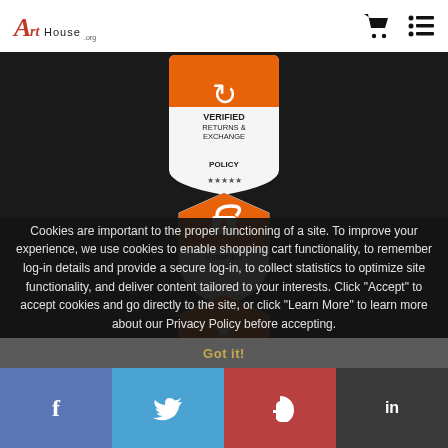ArtHouse logo with cart and menu icons
[Figure (logo): Verified Returns & Exchange Policy badge - orange shield with refresh arrows icon and five stars]
[Figure (logo): Verified Website badge - shield with padlock icon]
[Figure (logo): Verified Archival Material badge - shield with star icon]
Cookies are important to the proper functioning of a site. To improve your experience, we use cookies to enable shopping cart functionality, to remember log-in details and provide a secure log-in, to collect statistics to optimize site functionality, and deliver content tailored to your interests. Click "Accept" to accept cookies and go directly to the site, or click "Learn More" to learn more about our Privacy Policy before accepting.
Learn More
Got it!
[Figure (infographic): Social share buttons: Facebook (f), Twitter (bird), Pinterest (P), LinkedIn (in)]